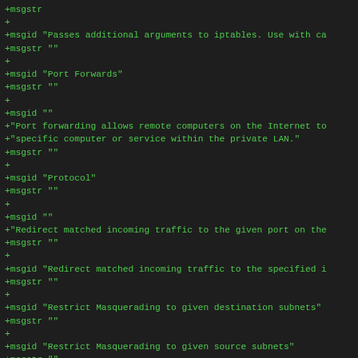+msgstr
+
+msgid "Passes additional arguments to iptables. Use with ca
+msgstr ""
+
+msgid "Port Forwards"
+msgstr ""
+
+msgid ""
+"Port forwarding allows remote computers on the Internet to
+"specific computer or service within the private LAN."
+msgstr ""
+
+msgid "Protocol"
+msgstr ""
+
+msgid ""
+"Redirect matched incoming traffic to the given port on the
+msgstr ""
+
+msgid "Redirect matched incoming traffic to the specified i
+msgstr ""
+
+msgid "Restrict Masquerading to given destination subnets"
+msgstr ""
+
+msgid "Restrict Masquerading to given source subnets"
+msgstr ""
+
+msgid "Restrict to address family"
+msgstr ""
+
+msgid "Rewrite matched traffic to the given address."